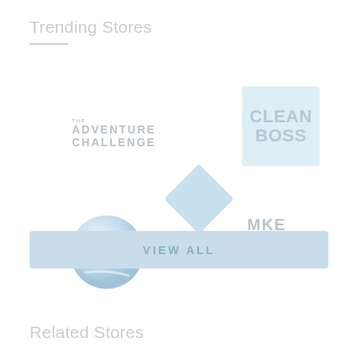Trending Stores
[Figure (logo): The Adventure Challenge logo - text-based logo with small THE above ADVENTURE CHALLENGE]
[Figure (logo): Clean Boss logo - blue square with CLEAN BOSS text in bold]
[Figure (logo): Sphere/globe logo with white stripe design on blue gradient sphere]
[Figure (logo): Blue diamond/rhombus shape logo]
[Figure (logo): MKE BOOT CO with star logo in gray text]
VIEW ALL
Related Stores